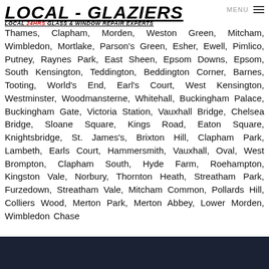LOCAL - GLAZIERS | LOCAL 24HRS GLASS & WINDOW REPAIR EXPERTS | MENU
Thames, Clapham, Morden, Weston Green, Mitcham, Wimbledon, Mortlake, Parson's Green, Esher, Ewell, Pimlico, Putney, Raynes Park, East Sheen, Epsom Downs, Epsom, South Kensington, Teddington, Beddington Corner, Barnes, Tooting, World's End, Earl's Court, West Kensington, Westminster, Woodmansterne, Whitehall, Buckingham Palace, Buckingham Gate, Victoria Station, Vauxhall Bridge, Chelsea Bridge, Sloane Square, Kings Road, Eaton Square, Knightsbridge, St. James's, Brixton Hill, Clapham Park, Lambeth, Earls Court, Hammersmith, Vauxhall, Oval, West Brompton, Clapham South, Hyde Farm, Roehampton, Kingston Vale, Norbury, Thornton Heath, Streatham Park, Furzedown, Streatham Vale, Mitcham Common, Pollards Hill, Colliers Wood, Merton Park, Merton Abbey, Lower Morden, Wimbledon Chase